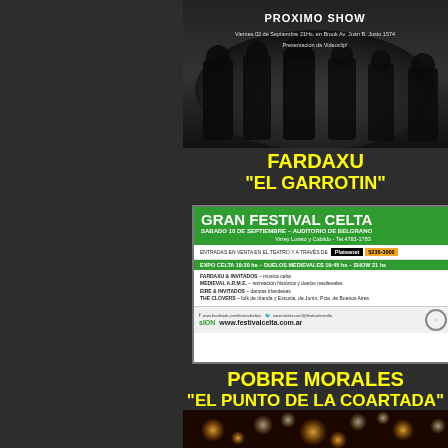[Figure (photo): Dark concert photo with band silhouettes and overlay text 'PROXIMO SHOW' with date/venue details]
FARDAXU
"EL GARROTIN"
[Figure (infographic): Gran Festival Celta flyer - event advertisement with green header, performer listings, ticket info, and website www.festivalcelta.com.ar]
POBRE MORALES
"EL PUNTO DE LA COARTADA"
[Figure (photo): Dark bokeh photo with out-of-focus lights]